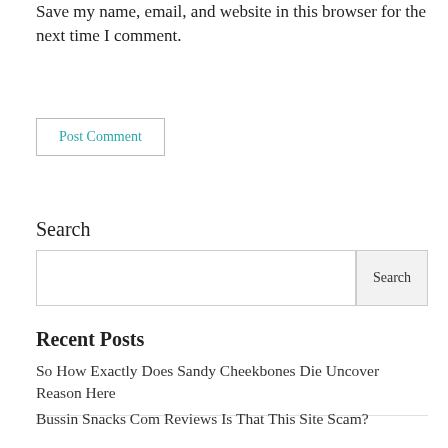Save my name, email, and website in this browser for the next time I comment.
Post Comment
Search
Search
Recent Posts
So How Exactly Does Sandy Cheekbones Die Uncover Reason Here
Bussin Snacks Com Reviews Is That This Site Scam?